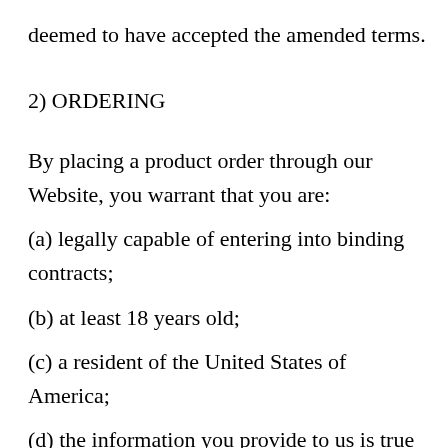deemed to have accepted the amended terms.
2) ORDERING
By placing a product order through our Website, you warrant that you are:
(a) legally capable of entering into binding contracts;
(b) at least 18 years old;
(c) a resident of the United States of America;
(d) the information you provide to us is true and correct.